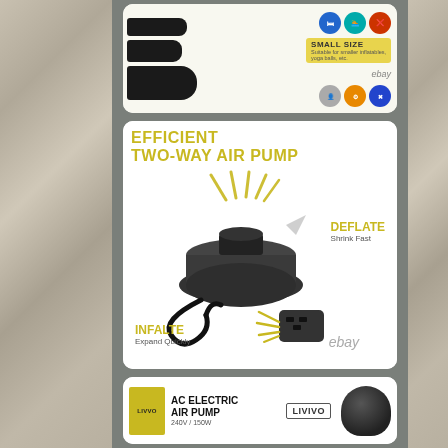[Figure (photo): Top product card showing three black rubber nozzle attachments for an air pump on the left, with small circular icons (for air mattress, swim ring, yoga ball) on the right, plus a yellow 'SMALL SIZE' label and eBay watermark. Background is white with rounded card.]
[Figure (infographic): Middle product card on white background with title 'EFFICIENT TWO-WAY AIR PUMP' in yellow/gold bold text, showing a 3D rendered black electric air pump. Yellow air streams shown at top (DEFLATE / Shrink Fast) and yellow streams at bottom-right plug (INFALTE / Expand Quickly). eBay watermark and grey stone/granite sidebar texture on left and right.]
[Figure (photo): Bottom product card partially visible showing yellow 'LIVVO' brand badge on left, 'AC ELECTRIC AIR PUMP 240V/150W' text in bold, 'LIVIVO' brand box logo on right, and partially visible black air pump at bottom.]